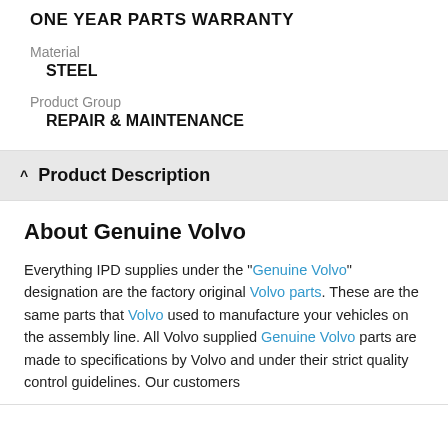ONE YEAR PARTS WARRANTY
Material
STEEL
Product Group
REPAIR & MAINTENANCE
Product Description
About Genuine Volvo
Everything IPD supplies under the "Genuine Volvo" designation are the factory original Volvo parts. These are the same parts that Volvo used to manufacture your vehicles on the assembly line. All Volvo supplied Genuine Volvo parts are made to specifications by Volvo and under their strict quality control guidelines. Our customers